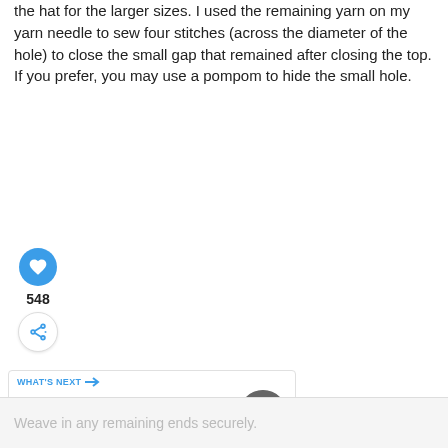the hat for the larger sizes. I used the remaining yarn on my yarn needle to sew four stitches (across the diameter of the hole) to close the small gap that remained after closing the top. If you prefer, you may use a pompom to hide the small hole.
[Figure (infographic): Social interaction buttons: a blue circular heart/like button, a count of 548, and a white circular share button with a share icon]
[Figure (infographic): WHAT'S NEXT navigation card showing 'Mason Jar Cover Pattern' with a circular thumbnail image of a mason jar]
Weave in any remaining ends securely.